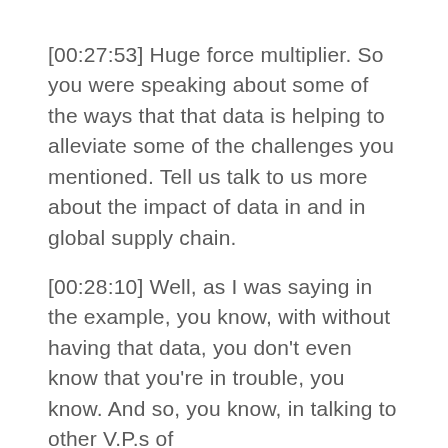[00:27:53] Huge force multiplier. So you were speaking about some of the ways that that data is helping to alleviate some of the challenges you mentioned. Tell us talk to us more about the impact of data in and in global supply chain.
[00:28:10] Well, as I was saying in the example, you know, with without having that data, you don't even know that you're in trouble, you know. And so, you know, in talking to other V.P.s of